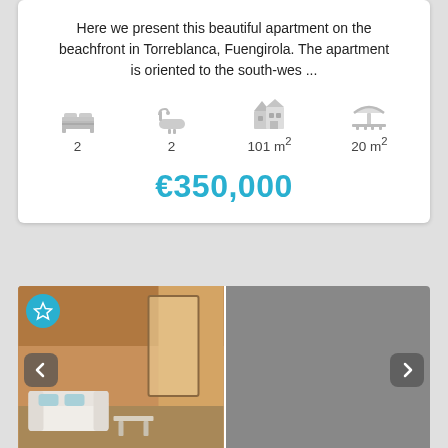Here we present this beautiful apartment on the beachfront in Torreblanca, Fuengirola. The apartment is oriented to the south-wes ...
2 bedrooms, 2 bathrooms, 101 m², 20 m² terrace
€350,000
[Figure (photo): Two side-by-side property photos: left shows an indoor/covered terrace with white furniture, right shows a beachfront terrace with palm trees, blue sky and sea view. Navigation arrows and a star/favourite button are visible.]